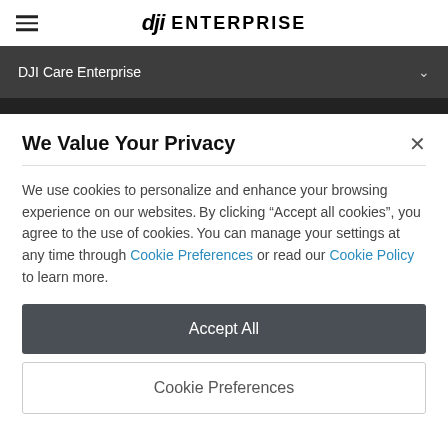DJI ENTERPRISE
DJI Care Enterprise
We Value Your Privacy
We use cookies to personalize and enhance your browsing experience on our websites. By clicking "Accept all cookies", you agree to the use of cookies. You can manage your settings at any time through Cookie Preferences or read our Cookie Policy to learn more.
Accept All
Cookie Preferences